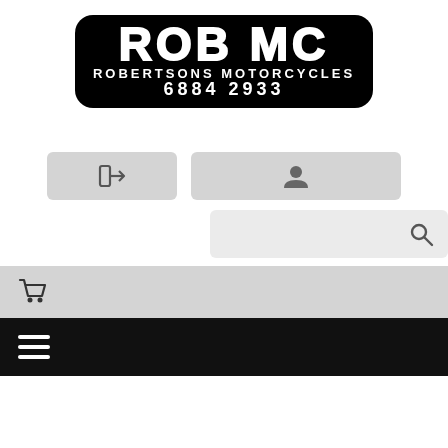[Figure (logo): ROB MC Robertsons Motorcycles logo with phone number 6884 2933 on black rounded rectangle background]
[Figure (screenshot): Login button with arrow-into-box icon on light grey rounded rectangle]
[Figure (screenshot): Account/user button with person silhouette icon on light grey rounded rectangle]
[Figure (screenshot): Search bar with magnifying glass icon on light grey rounded rectangle]
[Figure (screenshot): Shopping cart icon bar on light grey background]
[Figure (screenshot): Hamburger menu (three horizontal lines) on black navigation bar]